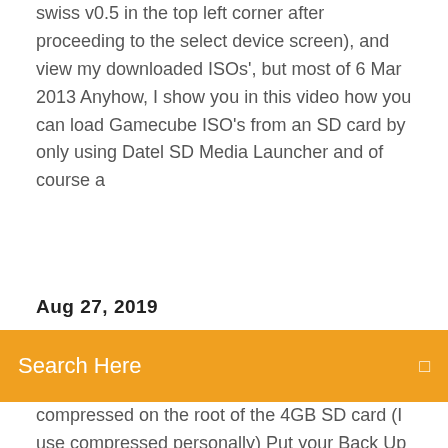swiss v0.5 in the top left corner after proceeding to the select device screen), and view my downloaded ISOs', but most of 6 Mar 2013 Anyhow, I show you in this video how you can load Gamecube ISO's from an SD card by only using Datel SD Media Launcher and of course a
Aug 27, 2019
Search Here
compressed on the root of the 4GB SD card (I use compressed personally) Put your Back Up files either in a folder or on the root of the larger SD card you've chosen. Insert the 4GB SD into the Gecko/Adapter & then into Slot B of the GC. Boot SD Media Launcher/Action Replay. Um Sicherheitskopien von Gamecube Games auf SD Karte abzuspielen, ist mit dem Homebrewprogramm SDBoot und einem SDGecko bzw. SD Media Launcher möglich. Sicherheitskopien in .GCM/.ISO Format können mit Hilfe von SD-Boot gestartet werden. I loaded the ISO file onto my SD Media Launcher I have 2 memory cards